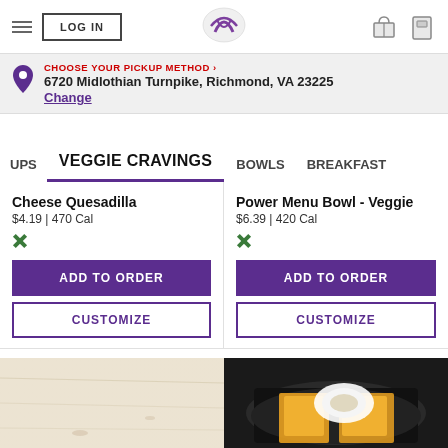LOG IN | Taco Bell logo | gift icon | coupon icon
CHOOSE YOUR PICKUP METHOD >
6720 Midlothian Turnpike, Richmond, VA 23225
Change
UPS   VEGGIE CRAVINGS   BOWLS   BREAKFAST
Cheese Quesadilla
$4.19 | 470 Cal
Power Menu Bowl - Veggie
$6.39 | 420 Cal
ADD TO ORDER
CUSTOMIZE
ADD TO ORDER
CUSTOMIZE
[Figure (photo): Cheese Quesadilla item photo - light wood surface]
[Figure (photo): Power Menu Bowl - Veggie item photo - bowl with food on black plate]